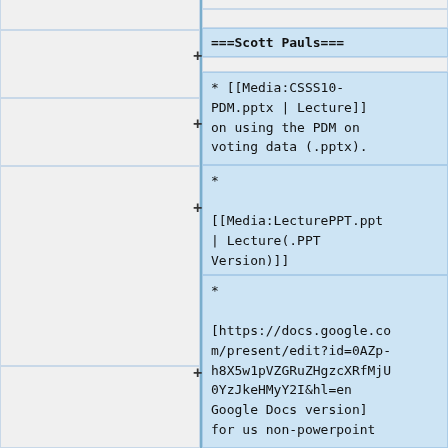===Scott Pauls===
* [[Media:CSSS10-PDM.pptx | Lecture]] on using the PDM on voting data (.pptx).
* [[Media:LecturePPT.ppt | Lecture(.PPT Version)]]
* [https://docs.google.com/present/edit?id=0AZp-h8X5w1pVZGRuZHgzcXRfMjU0YzJkeHMyY2I&hl=en Google Docs version] for us non-powerpoint